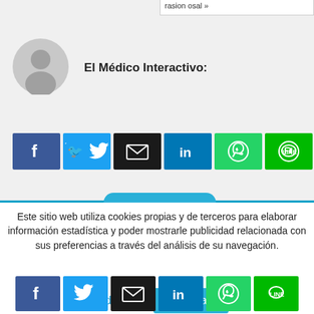rasion osal »
[Figure (illustration): Grey circular avatar/profile placeholder icon]
El Médico Interactivo:
[Figure (infographic): Row of social share buttons: Facebook (blue), Twitter (light blue), Email (black), LinkedIn (blue), WhatsApp (green), LINE (green)]
Este sitio web utiliza cookies propias y de terceros para elaborar información estadística y poder mostrarle publicidad relacionada con sus preferencias a través del análisis de su navegación.
Ver detalles
Aceptar
[Figure (infographic): Row of social share buttons bottom: Facebook (blue), Twitter (light blue), Email (black), LinkedIn (blue), WhatsApp (green), LINE (green)]